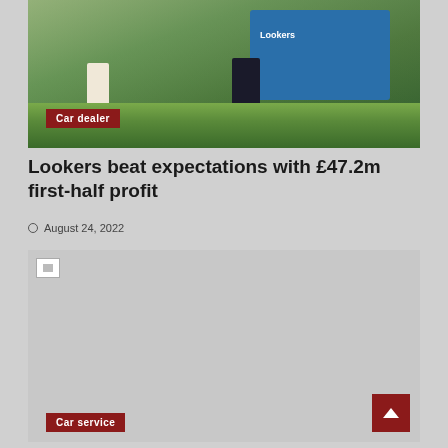[Figure (photo): Photo of a car dealer scene with a person in light clothing, a person in dark clothing, green bushes, and a blue Lookers branded truck in the background near a brick building]
Car dealer
Lookers beat expectations with £47.2m first-half profit
August 24, 2022
[Figure (photo): A second image area showing a car service related photo (image not loaded/broken)]
Car service